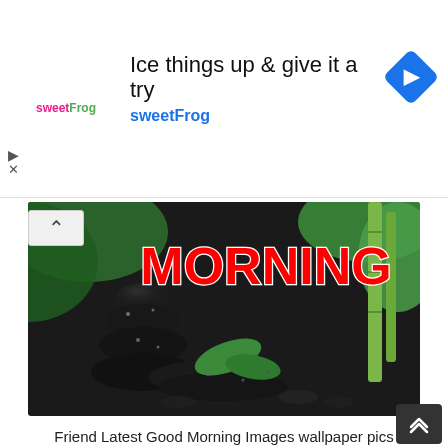[Figure (screenshot): Advertisement banner for sweetFrog with headline 'Ice things up & give it a try' and brand name 'sweetFrog' in blue text, sweetFrog logo on left, blue diamond navigation arrow icon on right]
[Figure (photo): Photo of wet black zen stones stacked with green tropical leaves and bamboo, with red bold text 'MORNING' overlaid on the right side]
Friend Latest Good Morning Images wallpaper pics download